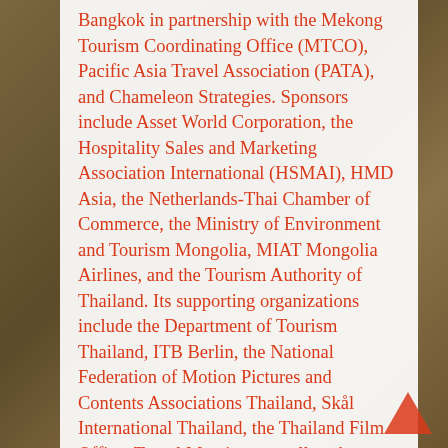Bangkok in partnership with the Mekong Tourism Coordinating Office (MTCO), Pacific Asia Travel Association (PATA), and Chameleon Strategies. Sponsors include Asset World Corporation, the Hospitality Sales and Marketing Association International (HSMAI), HMD Asia, the Netherlands-Thai Chamber of Commerce, the Ministry of Environment and Tourism Mongolia, MIAT Mongolia Airlines, and the Tourism Authority of Thailand. Its supporting organizations include the Department of Tourism Thailand, ITB Berlin, the National Federation of Motion Pictures and Contents Associations Thailand, Skål International Thailand, the Thailand Film Office, Travel Massive, as well as the UNWTO Affiliate Members Department. The producer of the event is UNWTO Affiliate Member Chameleon Strategies.